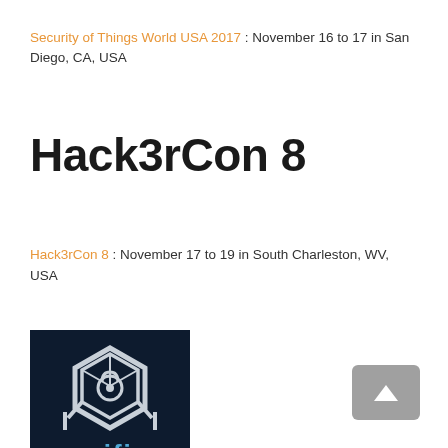Security of Things World USA 2017 : November 16 to 17 in San Diego, CA, USA
Hack3rCon 8
Hack3rCon 8 : November 17 to 19 in South Charleston, WV, USA
[Figure (logo): CIFI logo — white hexagon/cube icon with a lock symbol above text 'cifi' on a dark navy background]
[Figure (other): Back to top button — grey rounded square with white upward-pointing arrow]